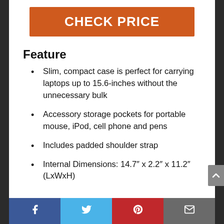CHECK PRICE
Feature
Slim, compact case is perfect for carrying laptops up to 15.6-inches without the unnecessary bulk
Accessory storage pockets for portable mouse, iPod, cell phone and pens
Includes padded shoulder strap
Internal Dimensions: 14.7″ x 2.2″ x 11.2″ (LxWxH)
Social bar: Facebook, Twitter, Pinterest, Email